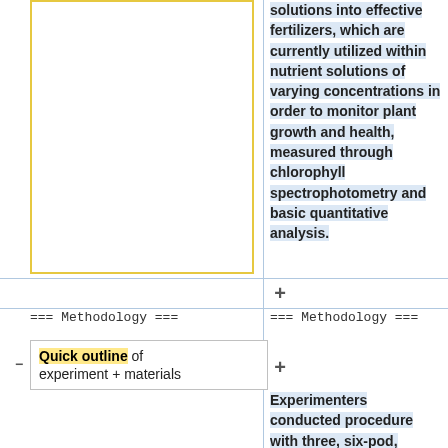solutions into effective fertilizers, which are currently utilized within nutrient solutions of varying concentrations in order to monitor plant growth and health, measured through chlorophyll spectrophotometry and basic quantitative analysis.
=== Methodology ===
=== Methodology ===
Quick outline of experiment + materials
Experimenters conducted procedure with three, six-pod, AeroGarden hydroponics systems